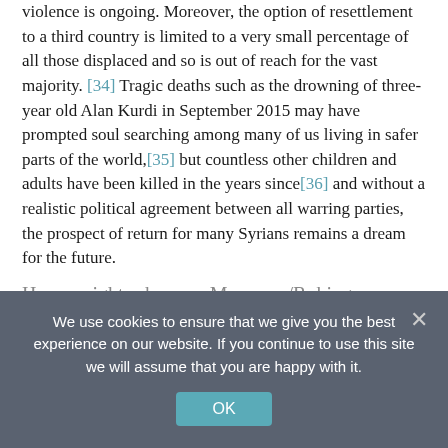violence is ongoing. Moreover, the option of resettlement to a third country is limited to a very small percentage of all those displaced and so is out of reach for the vast majority. [34] Tragic deaths such as the drowning of three-year old Alan Kurdi in September 2015 may have prompted soul searching among many of us living in safer parts of the world,[35] but countless other children and adults have been killed in the years since[36] and without a realistic political agreement between all warring parties, the prospect of return for many Syrians remains a dream for the future.
Human rights abuses – Myanmar/Rohingya
[partial/cut off text at bottom]
We use cookies to ensure that we give you the best experience on our website. If you continue to use this site we will assume that you are happy with it.